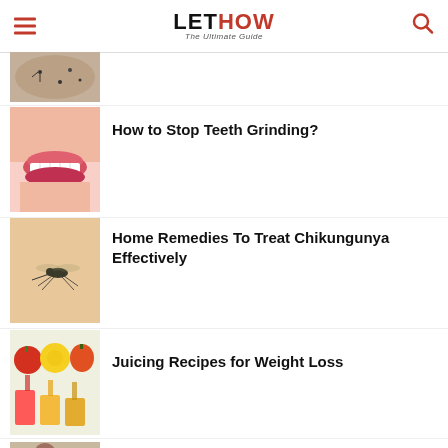LET HOW - The Ultimate Guide
[Figure (photo): Partial thumbnail of ants or insects on surface]
[Figure (photo): Close-up of woman's smile showing white teeth]
How to Stop Teeth Grinding?
[Figure (photo): Mosquito biting skin - Chikungunya treatment]
Home Remedies To Treat Chikungunya Effectively
[Figure (photo): Juicing recipes - tomato, lemon, apple juices being poured]
Juicing Recipes for Weight Loss
[Figure (photo): Person sitting at desk looking sad or thoughtful]
How to Stop Loving Someone?